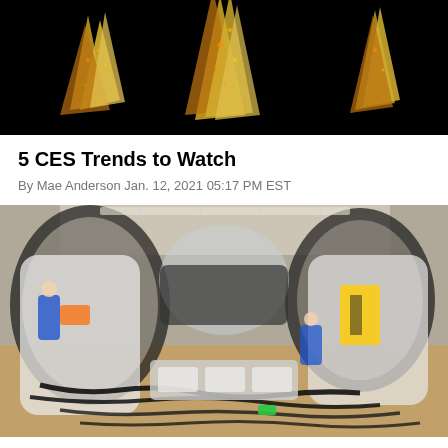[Figure (photo): Black background with colorful illuminated crystal or mineral-like objects, glowing orange, gold, and white against black]
5 CES Trends to Watch
By Mae Anderson Jan. 12, 2021 05:17 PM EST
[Figure (photo): Interior view of a vehicle under assembly in a factory, showing the bare metal frame with wiring harnesses, open door frames, and workers in blue uniforms working on the interior]